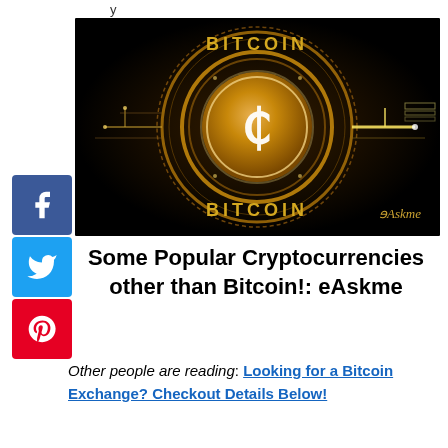y
[Figure (photo): Dark background image of a gold Bitcoin coin with circuit board elements and the word BITCOIN displayed prominently. The eAskme logo appears in the bottom right corner.]
Some Popular Cryptocurrencies other than Bitcoin!: eAskme
Other people are reading: Looking for a Bitcoin Exchange? Checkout Details Below!